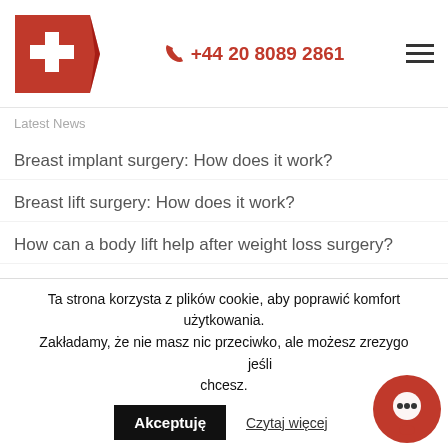KCM Clinic | +44 20 8089 2861
Latest News
Breast implant surgery: How does it work?
Breast lift surgery: How does it work?
How can a body lift help after weight loss surgery?
Revision rhinoplasty: When are grafts necessary?
Five outstanding specialists have joined KCM Clinic!
Open vs closed rhinoplasty: What's best for you?
Rhinoplasty (nose job): Procedures, recovery, eligibility
Ta strona korzysta z plików cookie, aby poprawić komfort użytkowania. Zakładamy, że nie masz nic przeciwko, ale możesz zrezygnować, jeśli chcesz.